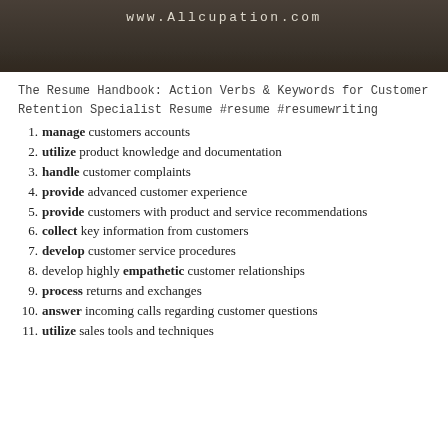[Figure (photo): Dark background banner photo with text www.Allcupation.com in monospace font, showing blurred office/books scene]
The Resume Handbook: Action Verbs & Keywords for Customer Retention Specialist Resume #resume #resumewriting
manage customers accounts
utilize product knowledge and documentation
handle customer complaints
provide advanced customer experience
provide customers with product and service recommendations
collect key information from customers
develop customer service procedures
develop highly empathetic customer relationships
process returns and exchanges
answer incoming calls regarding customer questions
utilize sales tools and techniques